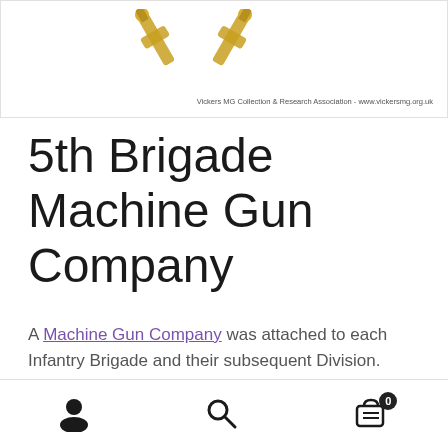[Figure (illustration): Two crossed golden/bronze Vickers machine gun badges on a white background]
Vickers MG Collection & Research Association - www.vickersmg.org.uk
5th Brigade Machine Gun Company
A Machine Gun Company was attached to each Infantry Brigade and their subsequent Division.
| Brigade attached | 5th Brigade |
| --- | --- |